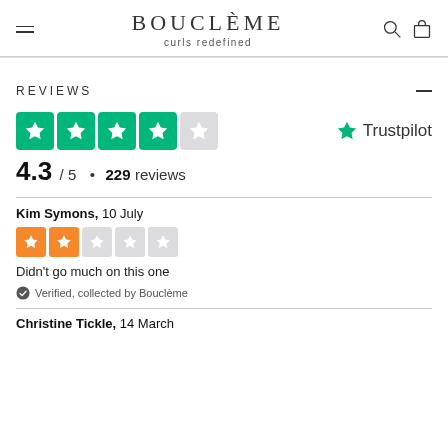BOUCLÈME curls redefined
REVIEWS
[Figure (other): Trustpilot 4.3 out of 5 stars rating widget with green star icons and Trustpilot logo]
4.3 / 5 • 229 reviews
Kim Symons, 10 July
[Figure (other): 2-star orange rating widget]
Didn't go much on this one
Verified, collected by Bouclème
Christine Tickle, 14 March